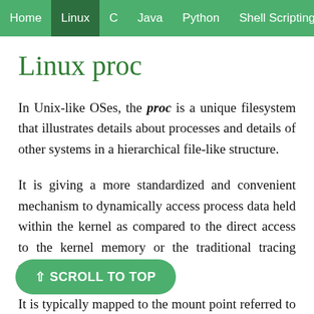Home  Linux  C  Java  Python  Shell Scripting
Linux proc
In Unix-like OSes, the proc is a unique filesystem that illustrates details about processes and details of other systems in a hierarchical file-like structure.
It is giving a more standardized and convenient mechanism to dynamically access process data held within the kernel as compared to the direct access to the kernel memory or the traditional tracing mechanisms or direct access.
It is typically mapped to the mount point referred to as /proc on boot time. A proc file system interface data structure within the kernel. It could be used for obtaining